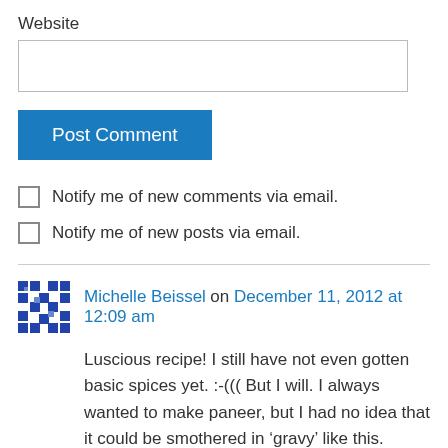Website
Post Comment
Notify me of new comments via email.
Notify me of new posts via email.
Michelle Beissel on December 11, 2012 at 12:09 am
Luscious recipe! I still have not even gotten basic spices yet. :-((( But I will. I always wanted to make paneer, but I had no idea that it could be smothered in ‘gravy’ like this.